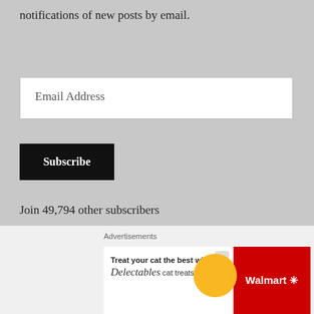notifications of new posts by email.
Email Address
Subscribe
Join 49,794 other subscribers
Advertisements
[Figure (screenshot): Advertisement banner: 'Business in the front...' text on light background with pink/coral bottom bar]
Advertisements
[Figure (screenshot): Walmart advertisement: 'Treat your cat the best with Delectables cat treats' with yellow circle cat image and Walmart logo on red background]